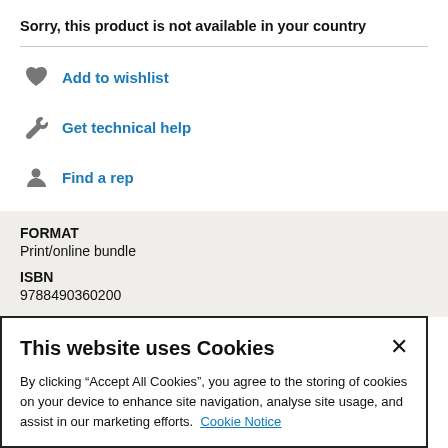Sorry, this product is not available in your country
Add to wishlist
Get technical help
Find a rep
| FORMAT | Print/online bundle |
| ISBN | 9788490360200 |
This website uses Cookies
By clicking “Accept All Cookies”, you agree to the storing of cookies on your device to enhance site navigation, analyse site usage, and assist in our marketing efforts. Cookie Notice